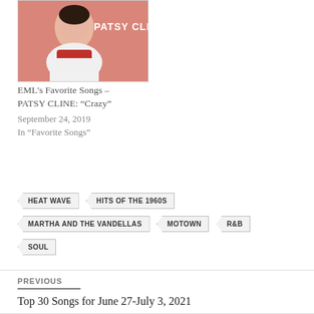[Figure (photo): Album cover or promotional photo of Patsy Cline – woman smiling with text 'PATSY CLIN' visible]
EML's Favorite Songs – PATSY CLINE: “Crazy”
September 24, 2019
In "Favorite Songs"
HEAT WAVE
HITS OF THE 1960S
MARTHA AND THE VANDELLAS
MOTOWN
R&B
SOUL
PREVIOUS
Top 30 Songs for June 27-July 3, 2021